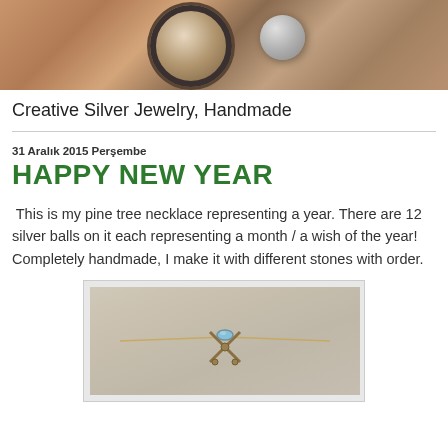[Figure (photo): Header banner photo showing silver jewelry pieces including a decorative ring with black filigree and a silver ball on a warm brown background]
Creative Silver Jewelry, Handmade
31 Aralık 2015 Perşembe
HAPPY NEW YEAR
This is my pine tree necklace representing a year. There are 12 silver balls on it each representing a month / a wish of the year! Completely handmade, I make it with different stones with order.
[Figure (photo): Photo of a handmade pine tree necklace with a blue stone and golden chain on a grey background]